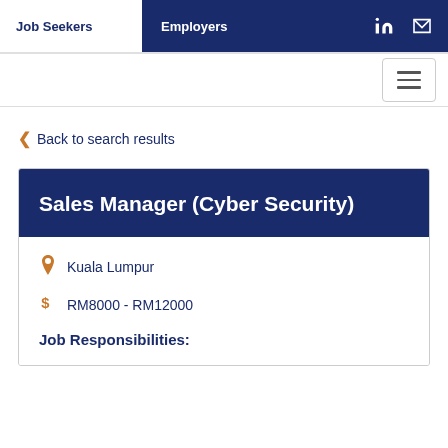Job Seekers | Employers
Back to search results
Sales Manager (Cyber Security)
Kuala Lumpur
RM8000 - RM12000
Job Responsibilities: